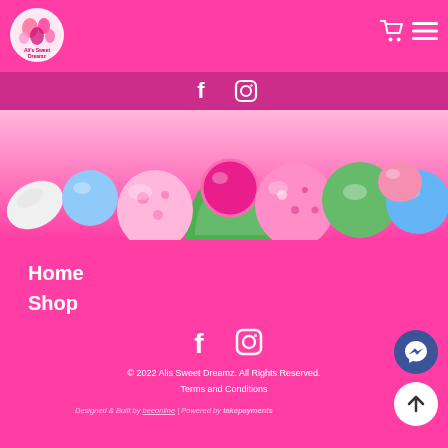Alis Sweet Dreamz - header with logo, cart icon, hamburger menu
[Figure (logo): Alis Sweet Dreamz circular logo with candy and sweets illustration]
[Figure (illustration): Social media bar with Facebook and Instagram icons in dark pink strip]
[Figure (photo): Colorful balloon-like candy sweets in various colors arranged decoratively]
Home
Shop
[Figure (illustration): Facebook and Instagram icons in white on pink background]
© 2022 Alis Sweet Dreamz. All Rights Reserved.
Terms and Conditions
Designed & Built by beeonline | Powered by takepayments